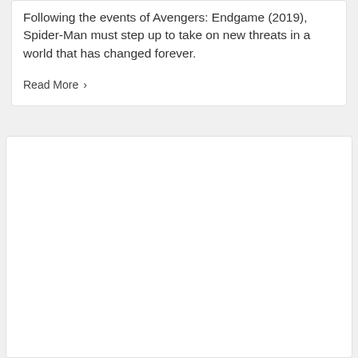Following the events of Avengers: Endgame (2019), Spider-Man must step up to take on new threats in a world that has changed forever.
Read More ›
[Figure (other): Empty white card/panel below the text card]